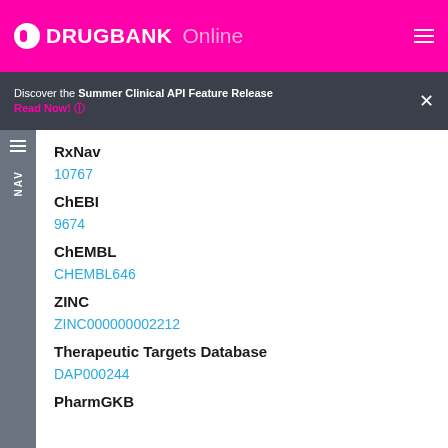DRUGBANK Online
Discover the Summer Clinical API Feature Release
Read Now!
RxNav
10767
ChEBI
9674
ChEMBL
CHEMBL646
ZINC
ZINC000000002212
Therapeutic Targets Database
DAP000244
PharmGKB